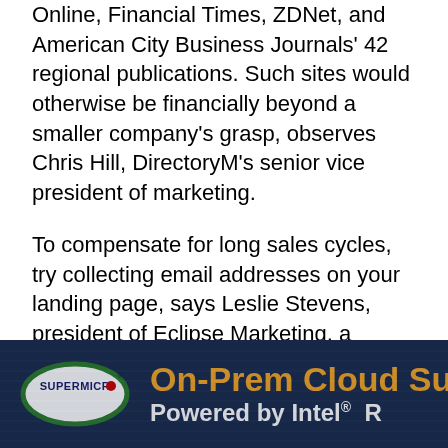Online, Financial Times, ZDNet, and American City Business Journals' 42 regional publications. Such sites would otherwise be financially beyond a smaller company's grasp, observes Chris Hill, DirectoryM's senior vice president of marketing.
To compensate for long sales cycles, try collecting email addresses on your landing page, says Leslie Stevens, president of Eclipse Marketing, a Laguna Niguel, Calif.-based consulting firm that serves A/V and home theater integrators. You can use that information to send prospects newsletters and articles that will keep them engaged with your company until an IT need arises.
[Figure (infographic): Supermicro advertisement banner with dark blue background. Shows Supermicro logo (oval with green border, white background, red dot) on the left, and text 'On-Prem Cloud Success' in orange bold and 'Powered by Intel®' in white bold on the right. Partially cut off on right side.]